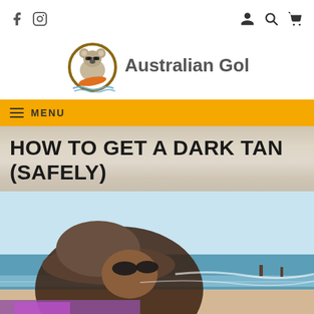Australian Gold website header with Facebook, Instagram, user, search, and cart icons
[Figure (logo): Australian Gold logo with koala mascot on surfboard in circular gold border, next to 'Australian Gold.' text]
MENU
HOW TO GET A DARK TAN (SAFELY)
[Figure (photo): Woman at beach wearing a wide-brimmed hat and sunglasses, looking up, with blue ocean and sky in background]